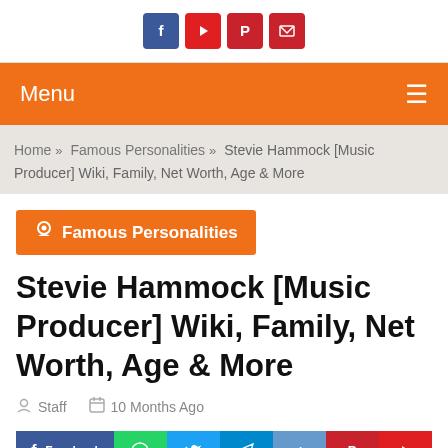[Figure (screenshot): Top white bar with social media icon buttons (Facebook blue, YouTube red, Pinterest red, email red)]
Menu ☰
Home » Famous Personalities » Stevie Hammock [Music Producer] Wiki, Family, Net Worth, Age & More
Famous Personalities
Stevie Hammock [Music Producer] Wiki, Family, Net Worth, Age & More
Staff  10 Months Ago
[Figure (screenshot): Social share buttons row: Facebook, WhatsApp, Twitter, Telegram, VK, Pinterest, YouTube]